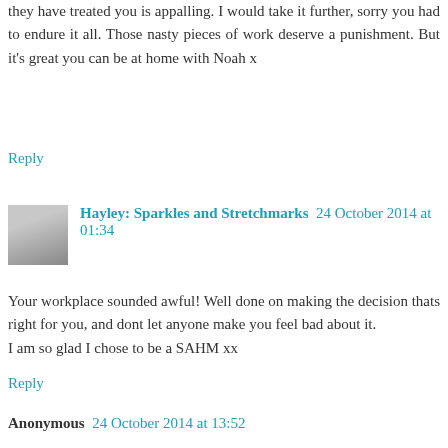they have treated you is appalling. I would take it further, sorry you had to endure it all. Those nasty pieces of work deserve a punishment. But it's great you can be at home with Noah x
Reply
Hayley: Sparkles and Stretchmarks  24 October 2014 at 01:34
Your workplace sounded awful! Well done on making the decision thats right for you, and dont let anyone make you feel bad about it.
I am so glad I chose to be a SAHM xx
Reply
Anonymous  24 October 2014 at 13:52
Sounds like you made the right choice, go you!!
Reply